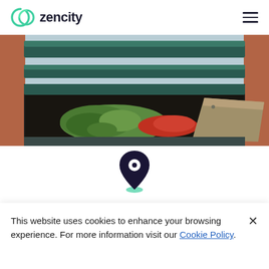zencity
[Figure (photo): A bench with a sleeping bag (green), red fabric, and a cardboard piece underneath, suggesting homelessness. The bench has a teal/dark green metal frame with rust.]
[Figure (illustration): A map location pin icon — dark purple/navy outline style with teal shadow ellipse at the base.]
Zencity's geo-location technology enabled
This website uses cookies to enhance your browsing experience. For more information visit our Cookie Policy.